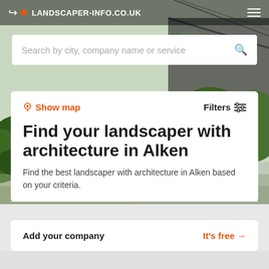LANDSCAPER-INFO.CO.UK
[Figure (screenshot): Search bar with placeholder text 'Search by city, company name or service' and a search icon]
Show map
Filters
Find your landscaper with architecture in Alken
Find the best landscaper with architecture in Alken based on your criteria.
Add your company
It's free →